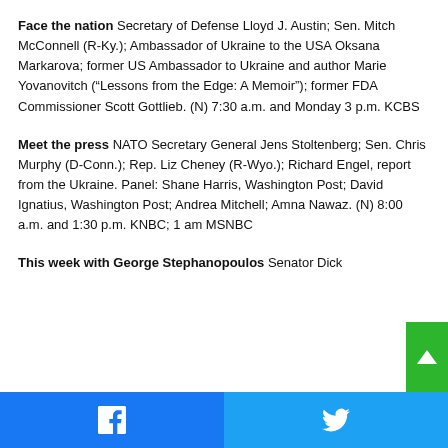Face the nation Secretary of Defense Lloyd J. Austin; Sen. Mitch McConnell (R-Ky.); Ambassador of Ukraine to the USA Oksana Markarova; former US Ambassador to Ukraine and author Marie Yovanovitch (“Lessons from the Edge: A Memoir”); former FDA Commissioner Scott Gottlieb. (N) 7:30 a.m. and Monday 3 p.m. KCBS
Meet the press NATO Secretary General Jens Stoltenberg; Sen. Chris Murphy (D-Conn.); Rep. Liz Cheney (R-Wyo.); Richard Engel, report from the Ukraine. Panel: Shane Harris, Washington Post; David Ignatius, Washington Post; Andrea Mitchell; Amna Nawaz. (N) 8:00 a.m. and 1:30 p.m. KNBC; 1 am MSNBC
This week with George Stephanopoulos Senator Dick